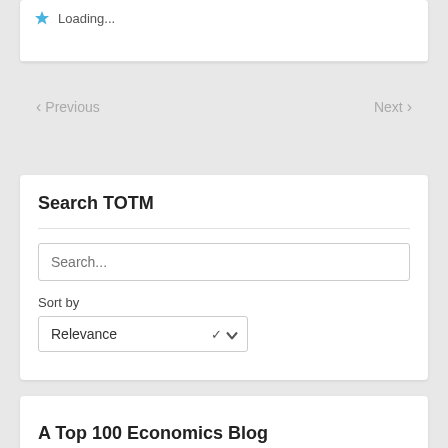Loading...
Previous
Next
Search TOTM
Search...
Sort by
Relevance
A Top 100 Economics Blog